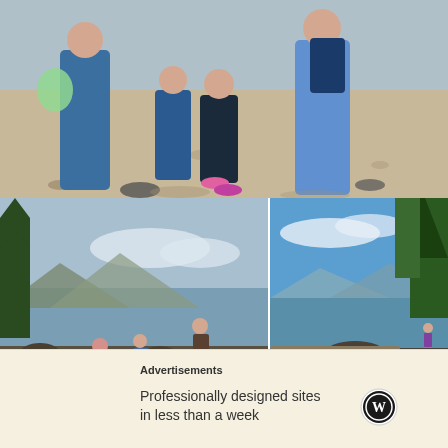[Figure (photo): Children and adults standing on a sandy beach, one person holding a green plastic bag. Footprints visible in the sand. Everyone wearing blue clothing.]
[Figure (photo): Group of people sitting and standing on rocky shoreline with mountains and water in background.]
[Figure (photo): Rocky beach with trees, blue sky, and mountains visible across the water.]
The nine of us continued on down the beach. The tide however was working in our favour and the beach
Advertisements
Professionally designed sites in less than a week